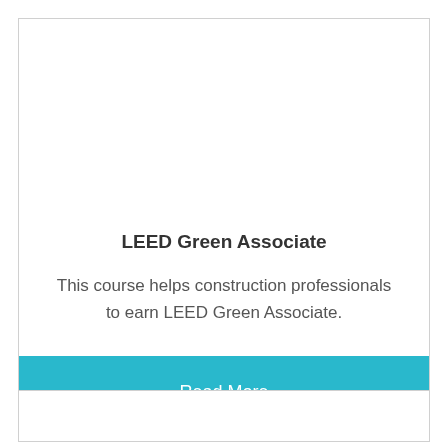LEED Green Associate
This course helps construction professionals to earn LEED Green Associate.
Read More